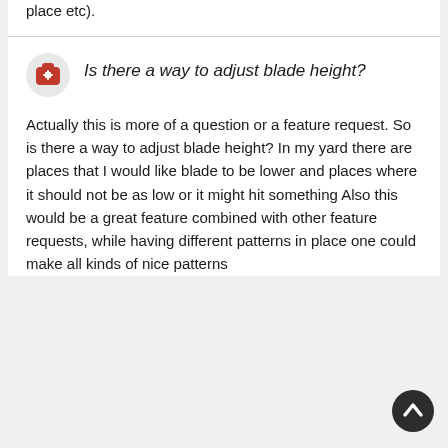nate LAPS (born, pick and place etc).
Is there a way to adjust blade height?
Actually this is more of a question or a feature request. So is there a way to adjust blade height? In my yard there are places that I would like blade to be lower and places where it should not be as low or it might hit something Also this would be a great feature combined with other feature requests, while having different patterns in place one could make all kinds of nice patterns